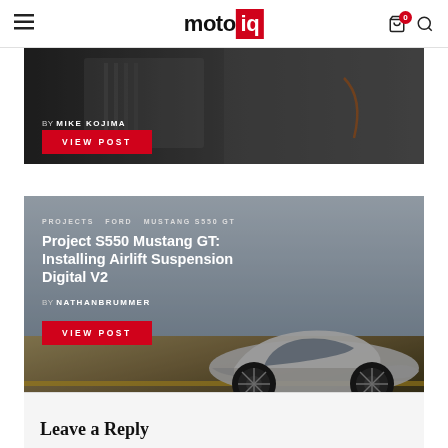motoiq — navigation bar with hamburger menu, logo, cart (0), search
[Figure (photo): Partial article card showing BY MIKE KOJIMA byline and VIEW POST button over a dark automotive background image]
BY MIKE KOJIMA
VIEW POST
[Figure (photo): Article card for Project S550 Mustang GT: Installing Airlift Suspension Digital V2, showing a silver Ford Mustang S550 GT on a muted golden-brown background]
PROJECTS   FORD   MUSTANG S550 GT
Project S550 Mustang GT: Installing Airlift Suspension Digital V2
BY NATHANBRUMMER
VIEW POST
Leave a Reply